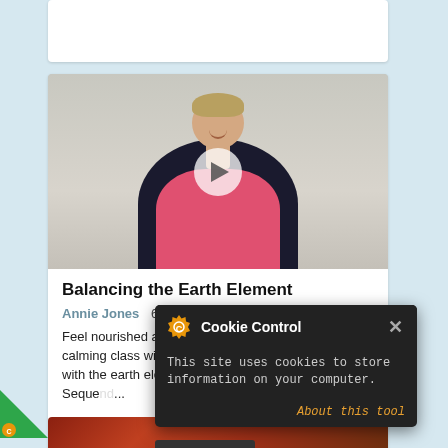[Figure (screenshot): Partial top card — white card with light blue background visible]
[Figure (photo): Video thumbnail showing a woman (Annie Jones) smiling in a pink top and dark cardigan, with a white play button overlay]
Balancing the Earth Element
Annie Jones  65 mins
Feel nourished and nurtured with this centring and calming class with Annie. Balance your connection with the earth element through EBR 1, the Earth Seque[nce and]...
[Figure (screenshot): Cookie Control popup overlay: dark background with orange gear icon, title 'Cookie Control', close X button, body text 'This site uses cookies to store information on your computer.', and 'About this tool' link in orange]
read more
[Figure (photo): Partial bottom card showing reddish outdoor ground/path photo]